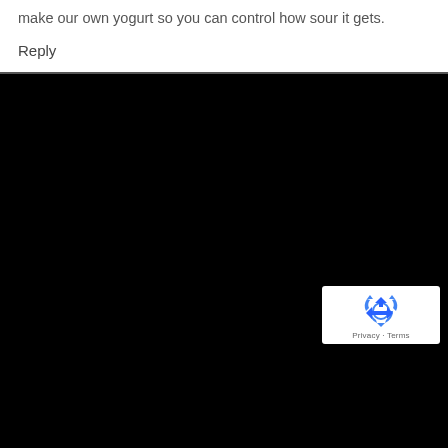make our own yogurt so you can control how sour it gets.
Reply
[Figure (logo): reCAPTCHA badge with recycling-arrow logo icon and Privacy - Terms text]